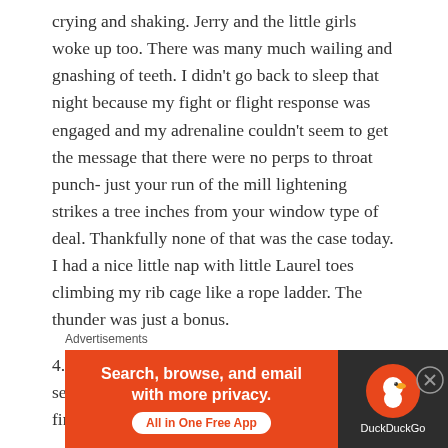crying and shaking. Jerry and the little girls woke up too. There was many much wailing and gnashing of teeth. I didn't go back to sleep that night because my fight or flight response was engaged and my adrenaline couldn't seem to get the message that there were no perps to throat punch- just your run of the mill lightening strikes a tree inches from your window type of deal. Thankfully none of that was the case today. I had a nice little nap with little Laurel toes climbing my rib cage like a rope ladder. The thunder was just a bonus.
4. We drove up, up, up to Cheyenne Mountain to see the fireworks tonight. We could probably see fireworks
Advertisements
[Figure (other): DuckDuckGo advertisement banner: orange left panel with text 'Search, browse, and email with more privacy. All in One Free App' and a white button, dark right panel with DuckDuckGo duck logo and brand name.]